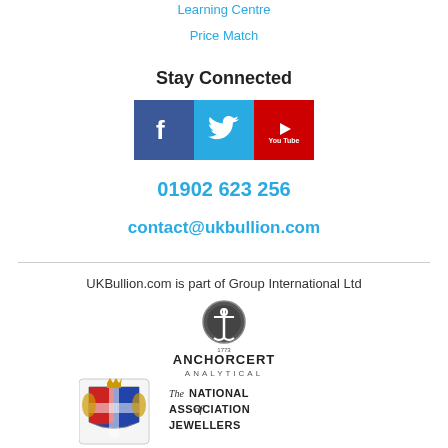Learning Centre
Price Match
Stay Connected
[Figure (illustration): Social media icons: Facebook, Twitter, YouTube]
01902 623 256
contact@ukbullion.com
UKBullion.com is part of Group International Ltd
[Figure (logo): AnchorCert Analytical logo with anchor emblem]
[Figure (logo): The National Association of Jewellers logo with coat of arms]